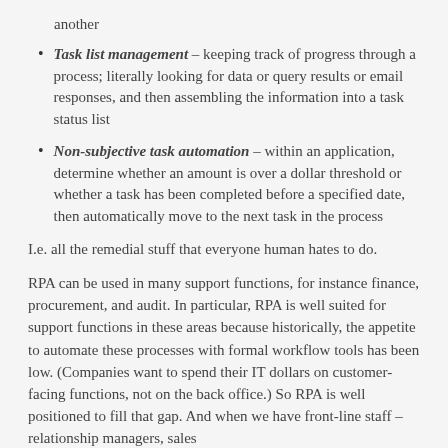another
Task list management – keeping track of progress through a process; literally looking for data or query results or email responses, and then assembling the information into a task status list
Non-subjective task automation – within an application, determine whether an amount is over a dollar threshold or whether a task has been completed before a specified date, then automatically move to the next task in the process
I.e. all the remedial stuff that everyone human hates to do.
RPA can be used in many support functions, for instance finance, procurement, and audit. In particular, RPA is well suited for support functions in these areas because historically, the appetite to automate these processes with formal workflow tools has been low. (Companies want to spend their IT dollars on customer-facing functions, not on the back office.) So RPA is well positioned to fill that gap. And when we have front-line staff – relationship managers, sales